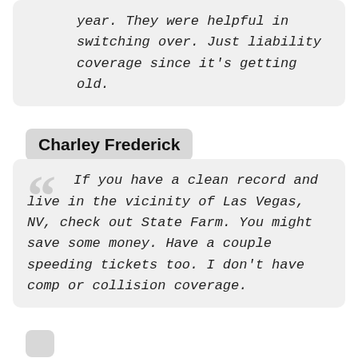year. They were helpful in switching over. Just liability coverage since it's getting old.
Charley Frederick
If you have a clean record and live in the vicinity of Las Vegas, NV, check out State Farm. You might save some money. Have a couple speeding tickets too. I don't have comp or collision coverage.